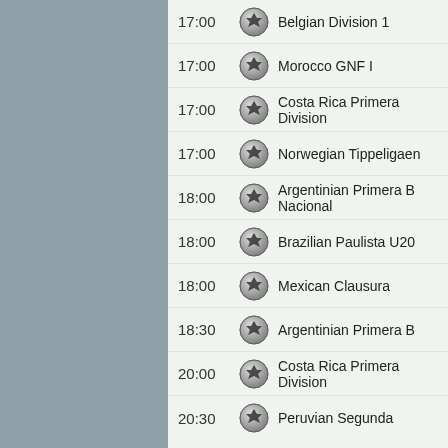17:00 Belgian Division 1
17:00 Morocco GNF I
17:00 Costa Rica Primera Division
17:00 Norwegian Tippeligaen
18:00 Argentinian Primera B Nacional
18:00 Brazilian Paulista U20
18:00 Mexican Clausura
18:30 Argentinian Primera B
20:00 Costa Rica Primera Division
20:30 Peruvian Segunda